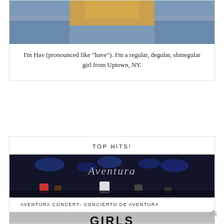[Figure (photo): Photo of a person wearing a mustard/yellow top and denim, cropped at top]
I'm Hav (pronounced like "have"). I'm a regular, degular, shmegular girl from Uptown, NY.
TOP HITS!
[Figure (photo): Concert photo of Aventura on stage with blue lights and crowd, Aventura logo visible]
AVENTURA CONCERT- CONCIERTO DE AVENTURA
[Figure (photo): Image with bold text reading GIRLS JUST WANT TO HAVE with dumbbell graphic]
A GUIDE TO GYM CLOTHES